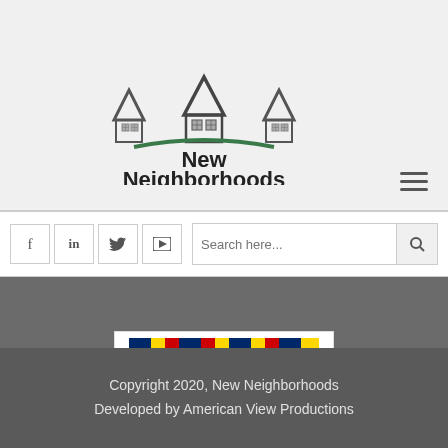[Figure (logo): New Neighborhoods logo with three house silhouettes and a green arc beneath, bold text 'New Neighborhoods' below]
[Figure (logo): Connecticut Department of Housing logo with colorful flag stripe and bold text 'CONNECTICUT Department of Housing']
Copyright 2020, New Neighborhoods
Developed by American View Productions